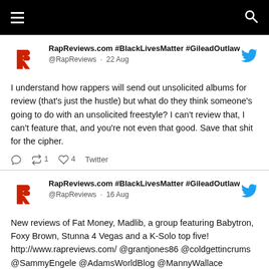≡  🔍
RapReviews.com #BlackLivesMatter #GileadOutlaw
@RapReviews · 22 Aug
I understand how rappers will send out unsolicited albums for review (that's just the hustle) but what do they think someone's going to do with an unsolicited freestyle? I can't review that, I can't feature that, and you're not even that good. Save that shit for the cipher.
↩1  ♡4  Twitter
RapReviews.com #BlackLivesMatter #GileadOutlaw
@RapReviews · 16 Aug
New reviews of Fat Money, Madlib, a group featuring Babytron, Foxy Brown, Stunna 4 Vegas and a K-Solo top five! http://www.rapreviews.com/ @grantjones86 @coldgettincrums @SammyEngele @AdamsWorldBlog @MannyWallace @WEKetchum @shack_house83 @leelTV @FatMoney167 #hiphop